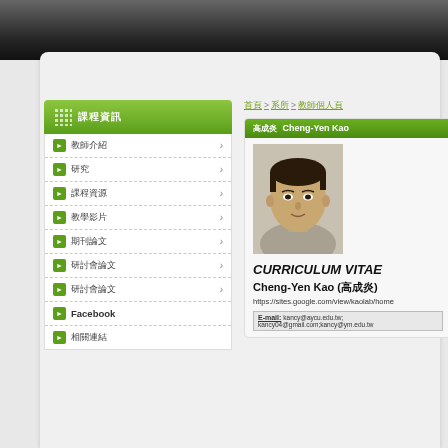[Figure (screenshot): Top dark banner of a university website]
課程資訊
教師介紹
研究
課程資源
教學影片
期刊論文
研討會論文
研討會論文
Facebook
相關連結
首頁 > 系所 > 教師個人頁
高成炎 Cheng-Yen Kao
[Figure (photo): Profile photo of Cheng-Yen Kao, a man in a light gray shirt]
CURRICULUM VITAE
Cheng-Yen Kao (高成炎)
https://sites.google.com/view/kaolab/home
E-mail: kancy@aycu.edu.tw; kancy04@gmail.com;kancy@ym.edu.tw